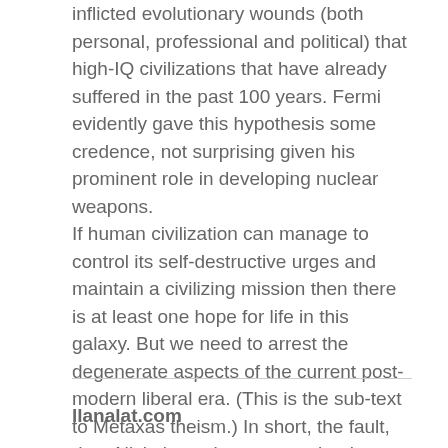inflicted evolutionary wounds (both personal, professional and political) that high-IQ civilizations that have already suffered in the past 100 years. Fermi evidently gave this hypothesis some credence, not surprising given his prominent role in developing nuclear weapons.
If human civilization can manage to control its self-destructive urges and maintain a civilizing mission then there is at least one hope for life in this galaxy. But we need to arrest the degenerate aspects of the current post-modern liberal era. (This is the sub-text to Metaxas theism.) In short, the fault, dear Nick, is not in our stars, but in ourselves.
llanalat.com